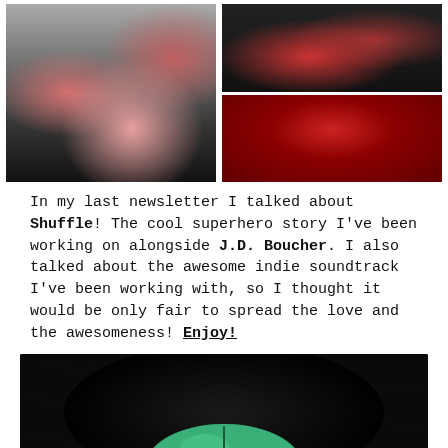[Figure (illustration): Two comic book panels side by side. Left panel shows a dark grayscale urban scene with pink/red toned superhero figures. Right panel shows two stacked comic frames with dark red tones showing action scenes and a close-up of an intense female face with red hair.]
In my last newsletter I talked about Shuffle! The cool superhero story I've been working on alongside J.D. Boucher. I also talked about the awesome indie soundtrack I've been working with, so I thought it would be only fair to spread the love and the awesomeness! Enjoy!
[Figure (illustration): Dark illustration showing a figure wearing a green helmet/cap viewed from below against a very dark background with subtle diagonal line texture.]